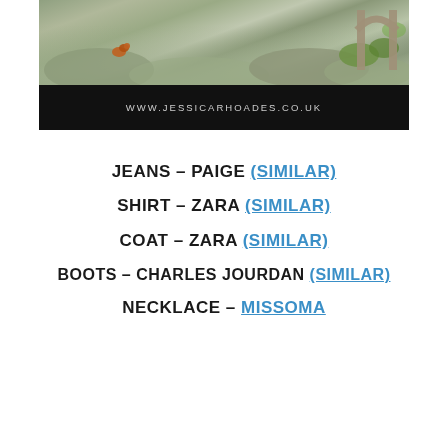[Figure (photo): Outdoor photo showing rocky terrain with greenery and a stone arch bridge, with a bird visible on the rocks. Below the photo is a black banner with the URL www.jessicarhoades.co.uk]
JEANS – PAIGE (SIMILAR)
SHIRT – ZARA (SIMILAR)
COAT – ZARA (SIMILAR)
BOOTS – CHARLES JOURDAN (SIMILAR)
NECKLACE – MISSOMA